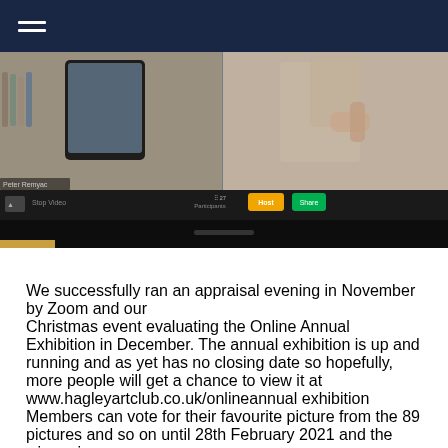[Figure (screenshot): Screenshot of a Zoom video call showing two participants — one on the left with art supplies and a mobile device visible, one on the right appearing to be painting or demonstrating something. The Zoom toolbar is visible at the bottom with Participants, a yellow button, and a green Share button.]
We successfully ran an appraisal evening in November by Zoom and our Christmas event evaluating the Online Annual Exhibition in December. The annual exhibition is up and running and as yet has no closing date so hopefully, more people will get a chance to view it at www.hagleyartclub.co.uk/onlineannualexhibition Members can vote for their favourite picture from the 89 pictures and so on until 28th February 2021 and the winner is